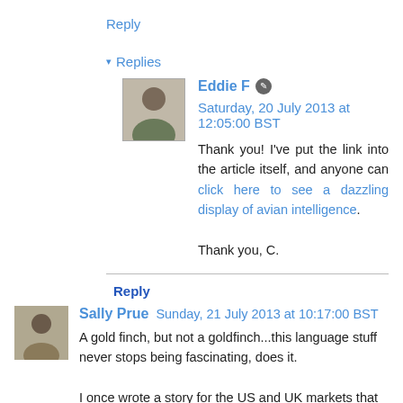Reply
▾ Replies
Eddie F  ✎  Saturday, 20 July 2013 at 12:05:00 BST
Thank you! I've put the link into the article itself, and anyone can click here to see a dazzling display of avian intelligence.

Thank you, C.
Reply
Sally Prue  Sunday, 21 July 2013 at 10:17:00 BST
A gold finch, but not a goldfinch...this language stuff never stops being fascinating, does it.

I once wrote a story for the US and UK markets that only